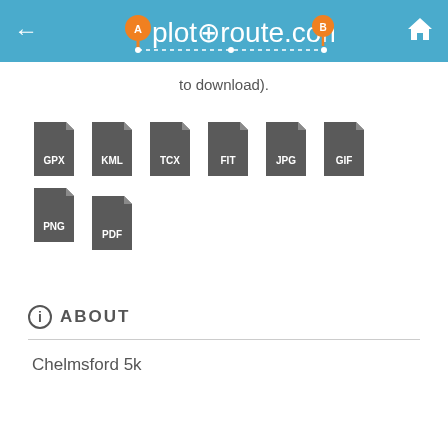plotaroute.com
to download).
[Figure (screenshot): File format icons: GPX, KML, TCX, FIT, JPG, GIF, PNG, PDF]
ABOUT
Chelmsford 5k